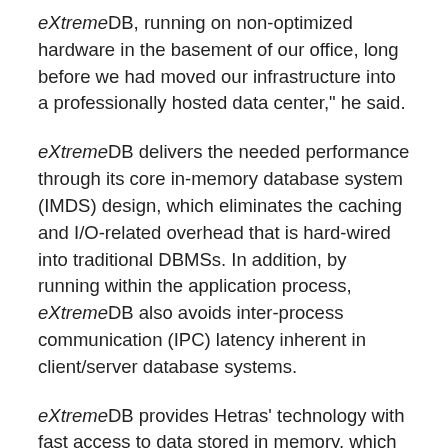eXtremeDB, running on non-optimized hardware in the basement of our office, long before we had moved our infrastructure into a professionally hosted data center," he said.
eXtremeDB delivers the needed performance through its core in-memory database system (IMDS) design, which eliminates the caching and I/O-related overhead that is hard-wired into traditional DBMSs. In addition, by running within the application process, eXtremeDB also avoids inter-process communication (IPC) latency inherent in client/server database systems.
eXtremeDB provides Hetras' technology with fast access to data stored in memory, which is similar to the role played by object caching. But while object-caching solutions require complex data views to be generated in advance and stored in memory,